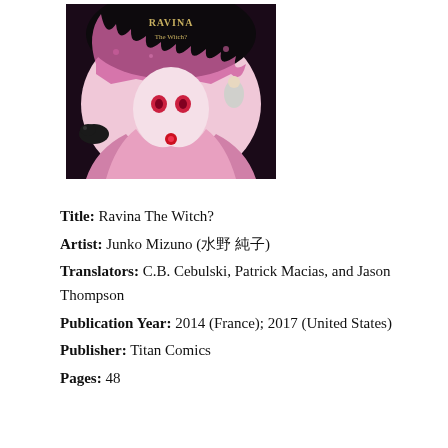[Figure (illustration): Book cover of 'Ravina The Witch?' by Junko Mizuno, showing an anime-style witch character with pink and black hair with flames, holding a key, with a black bird and pink flowing robes.]
Title: Ravina The Witch?
Artist: Junko Mizuno (水野純子)
Translators: C.B. Cebulski, Patrick Macias, and Jason Thompson
Publication Year: 2014 (France); 2017 (United States)
Publisher: Titan Comics
Pages: 48